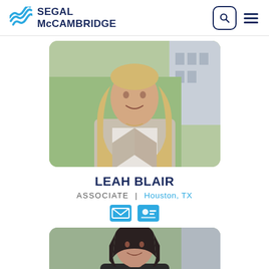Segal McCambridge
[Figure (photo): Professional headshot of Leah Blair, a woman with long blonde hair wearing a light beige blazer, smiling, with green trees and a building in the background]
LEAH BLAIR
ASSOCIATE | Houston, TX
[Figure (photo): Professional headshot of another woman with dark hair, partially visible, against an outdoor background]